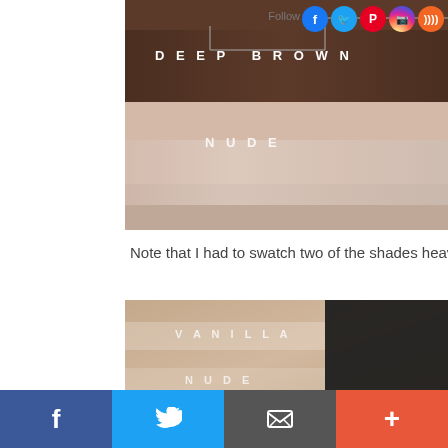[Figure (photo): Close-up photo of arm skin swatches showing two shades labelled DEEP BROWN (dark brown stripe) and NUDE (light/beige stripe), with social media follow icons (Facebook, Twitter, Pinterest, Instagram, RSS) overlaid in top right corner and a bracket line graphic.]
Note that I had to swatch two of the shades heavily – A
[Figure (photo): Close-up photo of arm skin swatches showing two lighter shades labelled VANILLA and NUDE, with a dark panel on the right side of the image.]
f  [Twitter bird]  [envelope]  +